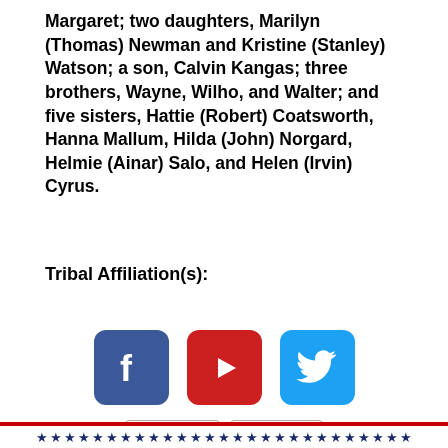Margaret; two daughters, Marilyn (Thomas) Newman and Kristine (Stanley) Watson; a son, Calvin Kangas; three brothers, Wayne, Wilho, and Walter; and five sisters, Hattie (Robert) Coatsworth, Hanna Mallum, Hilda (John) Norgard, Helmie (Ainar) Salo, and Helen (Irvin) Cyrus.
Tribal Affiliation(s):
[Figure (logo): Social media icons: Facebook (blue rounded square with white F), YouTube (red rounded rectangle with white play triangle), Twitter (blue rounded square with white bird)]
Privacy Policy   Cookie Policy
★ ★ ★ ★ ★ ★ ★ ★ ★ ★ ★ ★ ★ ★ ★ ★ ★ ★ ★ ★ ★ ★ ★ ★